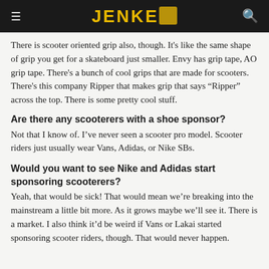JENKEM
There is scooter oriented grip also, though. It's like the same shape of grip you get for a skateboard just smaller. Envy has grip tape, AO grip tape. There's a bunch of cool grips that are made for scooters. There's this company Ripper that makes grip that says “Ripper” across the top. There is some pretty cool stuff.
Are there any scooterers with a shoe sponsor?
Not that I know of. I’ve never seen a scooter pro model. Scooter riders just usually wear Vans, Adidas, or Nike SBs.
Would you want to see Nike and Adidas start sponsoring scooterers?
Yeah, that would be sick! That would mean we’re breaking into the mainstream a little bit more. As it grows maybe we’ll see it. There is a market. I also think it’d be weird if Vans or Lakai started sponsoring scooter riders, though. That would never happen.